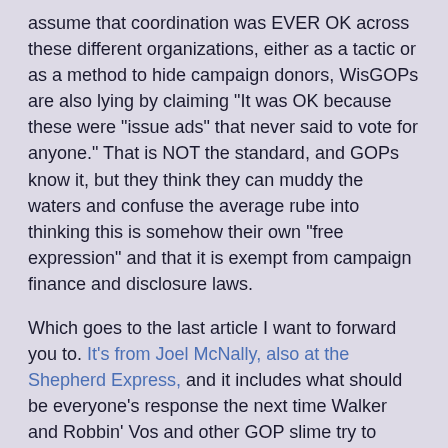assume that coordination was EVER OK across these different organizations, either as a tactic or as a method to hide campaign donors, WisGOPs are also lying by claiming “It was OK because these were “issue ads” that never said to vote for anyone.” That is NOT the standard, and GOPs know it, but they think they can muddy the waters and confuse the average rube into thinking this is somehow their own “free expression” and that it is exempt from campaign finance and disclosure laws.
Which goes to the last article I want to forward you to. It’s from Joel McNally, also at the Shepherd Express, and it includes what should be everyone’s response the next time Walker and Robbin’ Vos and other GOP slime try to claim “courts have found what was done to be legal and stopped the John Doe as a result” The trick is that those WisGOPs don’t mention that the courts who did so were tainted and illegitimate.
The real reason the state court shut down the John Doe was itself brazenly corrupt. The so-called independent groups at the heart of the